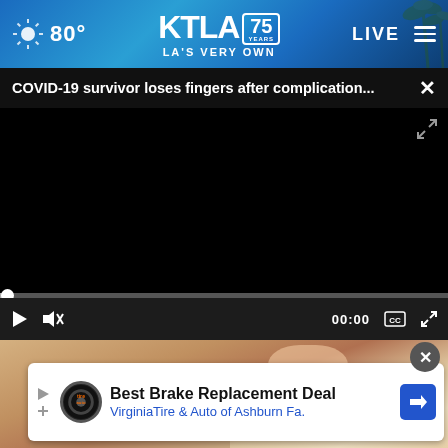KTLA 75 YEARS — LA'S VERY OWN | 80° | LIVE
COVID-19 survivor loses fingers after complication...
[Figure (screenshot): Black video player screen with progress bar at bottom showing 00:00 timestamp, play button, mute button, captions button, and fullscreen button]
[Figure (photo): Partial view of a person in background (brownish/beige tones) beneath the video player]
Best Brake Replacement Deal
VirginiaTire & Auto of Ashburn Fa.